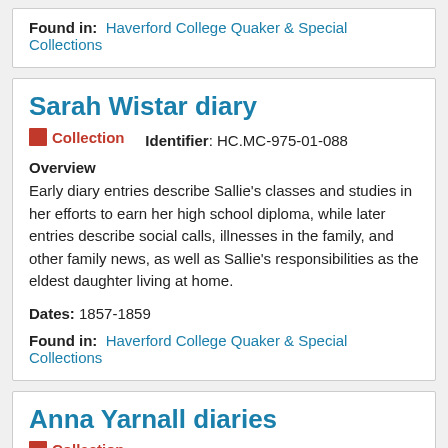Found in: Haverford College Quaker & Special Collections
Sarah Wistar diary
Collection   Identifier: HC.MC-975-01-088
Overview
Early diary entries describe Sallie's classes and studies in her efforts to earn her high school diploma, while later entries describe social calls, illnesses in the family, and other family news, as well as Sallie's responsibilities as the eldest daughter living at home.
Dates: 1857-1859
Found in: Haverford College Quaker & Special Collections
Anna Yarnall diaries
Collection   Identifier: HC.MC-975-01-094
Overview
Anna Yarnall's diary entries describe weather, social